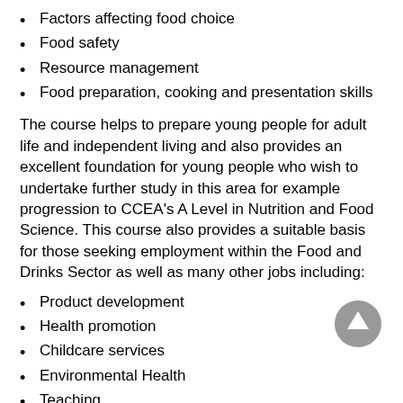Factors affecting food choice
Food safety
Resource management
Food preparation, cooking and presentation skills
The course helps to prepare young people for adult life and independent living and also provides an excellent foundation for young people who wish to undertake further study in this area for example progression to CCEA's A Level in Nutrition and Food Science. This course also provides a suitable basis for those seeking employment within the Food and Drinks Sector as well as many other jobs including:
Product development
Health promotion
Childcare services
Environmental Health
Teaching
Dietetics
Nutritionist
Environmental Health officer
[Figure (other): Upward arrow navigation button (grey circle with white up arrow)]